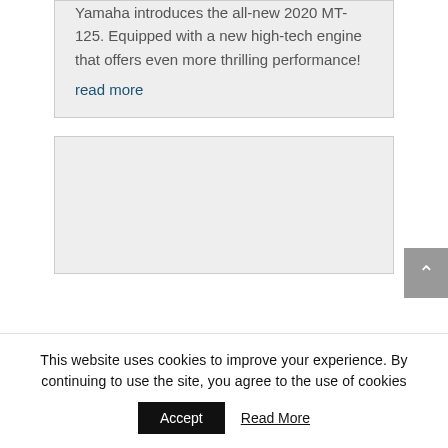Yamaha introduces the all-new 2020 MT-125. Equipped with a new high-tech engine that offers even more thrilling performance!
read more
[Figure (other): Gray placeholder card/image block]
This website uses cookies to improve your experience. By continuing to use the site, you agree to the use of cookies
Accept
Read More